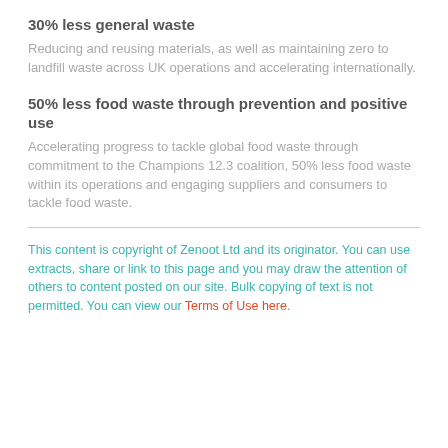30% less general waste
Reducing and reusing materials, as well as maintaining zero to landfill waste across UK operations and accelerating internationally.
50% less food waste through prevention and positive use
Accelerating progress to tackle global food waste through commitment to the Champions 12.3 coalition, 50% less food waste within its operations and engaging suppliers and consumers to tackle food waste.
This content is copyright of Zenoot Ltd and its originator. You can use extracts, share or link to this page and you may draw the attention of others to content posted on our site. Bulk copying of text is not permitted. You can view our Terms of Use here.